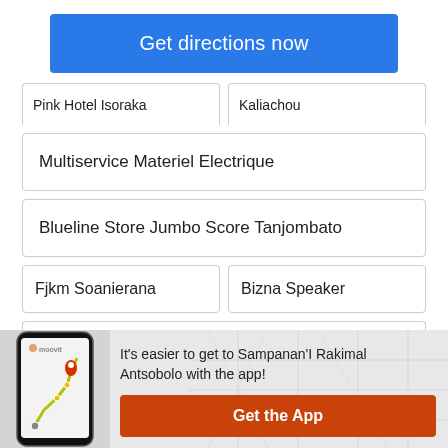[Figure (screenshot): Blue button labeled 'Get directions now']
Pink Hotel Isoraka
Kaliachou
Multiservice Materiel Electrique
Blueline Store Jumbo Score Tanjombato
Fjkm Soanierana
Bizna Speaker
Education Performing School - E.P.S
[Figure (infographic): Moovit app promo banner with phone mockup showing map/route, text: It's easier to get to Sampanan'I Rakimal Antsobolo with the app!, and orange Get the App button]